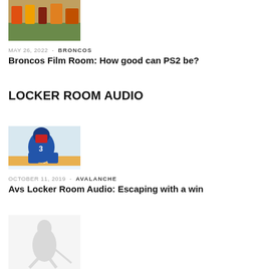[Figure (photo): Sports photo showing football players on field, partially cropped at top]
MAY 26, 2022 - BRONCOS
Broncos Film Room: How good can PS2 be?
LOCKER ROOM AUDIO
[Figure (photo): Hockey goalie in blue Colorado Avalanche uniform crouching on ice, number 3]
OCTOBER 11, 2019 - AVALANCHE
Avs Locker Room Audio: Escaping with a win
[Figure (photo): Faded/light hockey player silhouette at bottom of page]